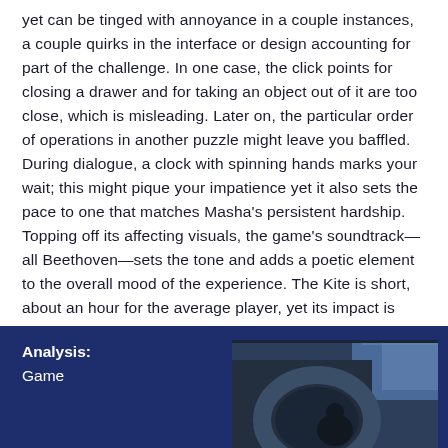yet can be tinged with annoyance in a couple instances, a couple quirks in the interface or design accounting for part of the challenge. In one case, the click points for closing a drawer and for taking an object out of it are too close, which is misleading. Later on, the particular order of operations in another puzzle might leave you baffled. During dialogue, a clock with spinning hands marks your wait; this might pique your impatience yet it also sets the pace to one that matches Masha's persistent hardship. Topping off its affecting visuals, the game's soundtrack—all Beethoven—sets the tone and adds a poetic element to the overall mood of the experience. The Kite is short, about an hour for the average player, yet its impact is much longer lasting.
Analysis:
Game
[Figure (photo): A dark outdoor photo showing what appears to be a circular or arched structure, partially visible, with a blue tinted sky background.]